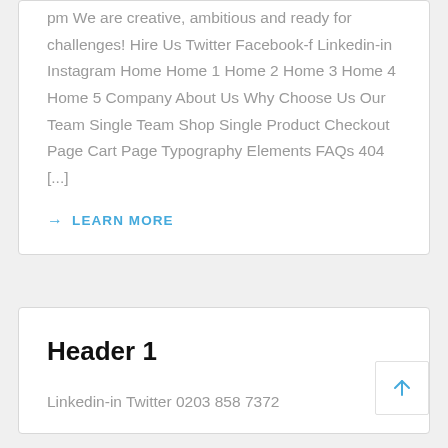pm We are creative, ambitious and ready for challenges! Hire Us Twitter Facebook-f Linkedin-in Instagram Home Home 1 Home 2 Home 3 Home 4 Home 5 Company About Us Why Choose Us Our Team Single Team Shop Single Product Checkout Page Cart Page Typography Elements FAQs 404 [...]
→ LEARN MORE
Header 1
Linkedin-in Twitter 0203 858 7372